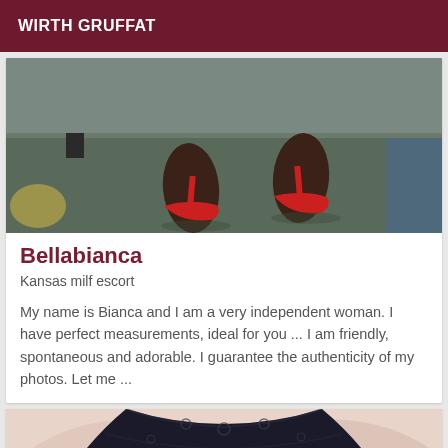WIRTH GRUFFAT
[Figure (photo): Photo showing feet/legs of person wearing red high heeled sandals, standing on a dark carpet floor, lower portion of image]
Bellabianca
Kansas milf escort
My name is Bianca and I am a very independent woman. I have perfect measurements, ideal for you ... I am friendly, spontaneous and adorable. I guarantee the authenticity of my photos. Let me ...
[Figure (photo): Partial photo showing lower body of person wearing dark lace lingerie bottoms, light skin tone, cropped image]